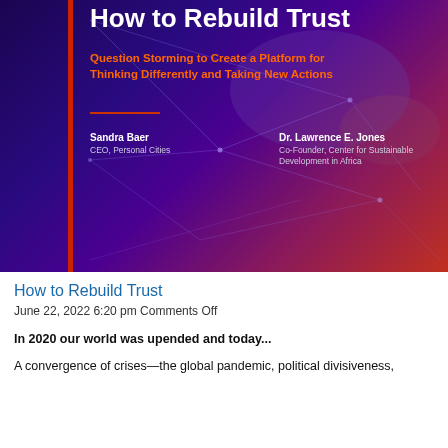[Figure (illustration): Book or report cover image with dark purple-to-red gradient background, network connection lines overlay, a vertical red bar on the left side, title 'How to Rebuild Trust' in white bold text at top, orange bold subtitle 'Question Storming to Create a Platform for Thinking Differently and Taking New Actions', a horizontal red divider line, and two author entries: Sandra Baer (CEO, Personal Cities) and Dr. Lawrence E. Jones (Co-Founder, Center for Sustainable Development in Africa)]
How to Rebuild Trust
June 22, 2022 6:20 pm Comments Off
In 2020 our world was upended and today...
A convergence of crises—the global pandemic, political divisiveness,